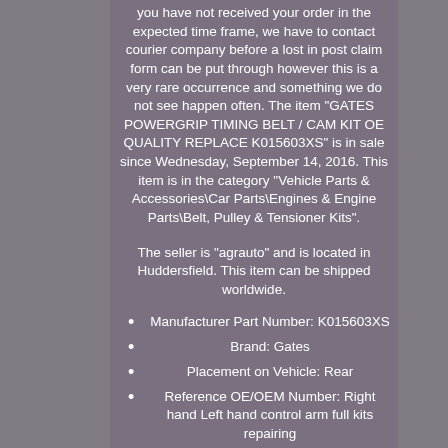you have not received your order in the expected time frame, we have to contact courier company before a lost in post claim form can be put through however this is a very rare occurrence and something we do not see happen often. The item "GATES POWERGRIP TIMING BELT / CAM KIT OE QUALITY REPLACE K015603XS" is in sale since Wednesday, September 14, 2016. This item is in the category "Vehicle Parts & Accessories\Car Parts\Engines & Engine Parts\Belt, Pulley & Tensioner Kits".
The seller is "agrauto" and is located in Huddersfield. This item can be shipped worldwide.
Manufacturer Part Number: K015603XS
Brand: Gates
Placement on Vehicle: Rear
Reference OE/OEM Number: Right hand Left hand control arm full kits repairing